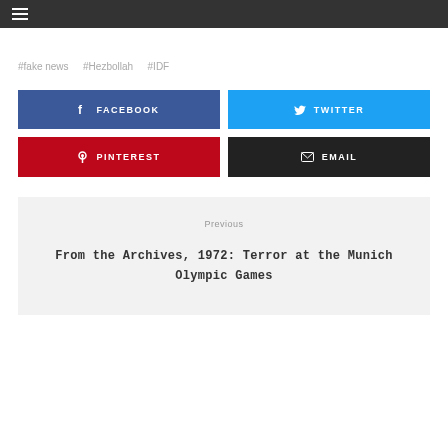≡
#fake news   #Hezbollah   #IDF
[Figure (other): Social share buttons: Facebook, Twitter, Pinterest, Email]
Previous
From the Archives, 1972: Terror at the Munich Olympic Games